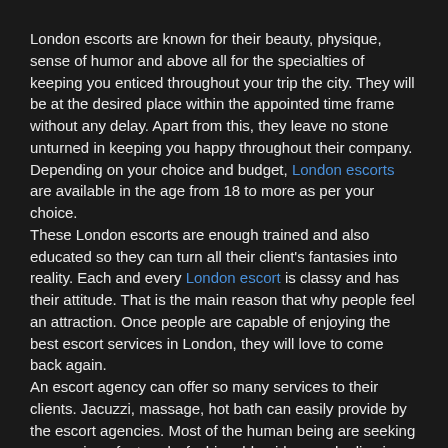London escorts are known for their beauty, physique, sense of humor and above all for the specialties of keeping you enticed throughout your trip the city. They will be at the desired place within the appointed time frame without any delay. Apart from this, they leave no stone unturned in keeping you happy throughout their company. Depending on your choice and budget, London escorts are available in the age from 18 to more as per your choice.
These London escorts are enough trained and also educated so they can turn all their client's fantasies into reality. Each and every London escort is classy and has their attitude. That is the main reason that why people feel an attraction. Once people are capable of enjoying the best escort services in London, they will love to come back again.
An escort agency can offer so many services to their clients. Jacuzzi, massage, hot bath can easily provide by the escort agencies. Most of the human being are seeking companion of a trendy, fashionable girl, one who lies in that group; then it is the appropriate to look for the escort services in London. Each of the escort services brings some escorts featuring sparkling beauty, professionalism, and dignity. Being one of the best political and business hubs in London, London has been measured as the perfect location for escort services.
The escorts are trained in their profession to meet clients from different countries and places. They would be conversant in foreign languages that